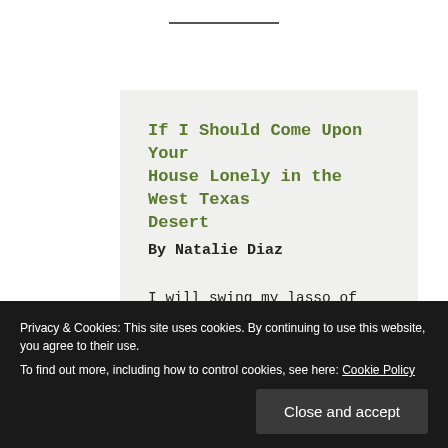If I Should Come Upon Your House Lonely in the West Texas Desert
By Natalie Diaz
I will swing my lasso of headlights
across your front porch,

let it drop like a rope of

you will tie and tighten the
Privacy & Cookies: This site uses cookies. By continuing to use this website, you agree to their use.
To find out more, including how to control cookies, see here: Cookie Policy